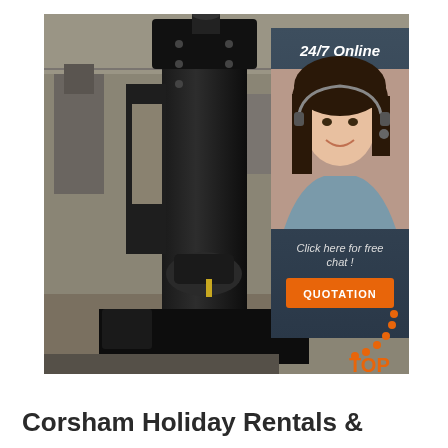[Figure (photo): Industrial black heavy forging or stamping machine in a factory workshop setting. On the right side of the image is an overlay panel with dark blue-grey background showing '24/7 Online' text, a female customer service agent wearing a headset, 'Click here for free chat!' text, and an orange QUOTATION button. Bottom right shows a 'TOP' logo with orange dots forming an arc.]
Corsham Holiday Rentals &